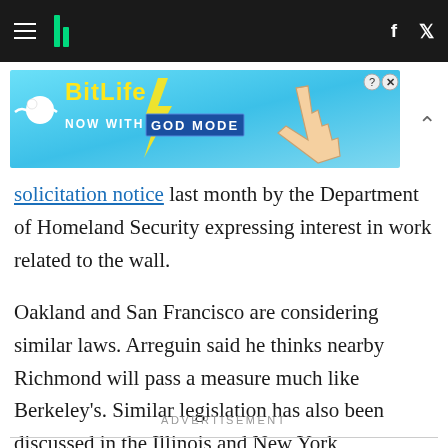HuffPost navigation header with hamburger menu, logo, Facebook and Twitter icons
[Figure (illustration): BitLife advertisement banner: 'NOW WITH GOD MODE' on a blue background with cartoon hand pointing and lightning bolt graphics]
solicitation notice last month by the Department of Homeland Security expressing interest in work related to the wall.
Oakland and San Francisco are considering similar laws. Arreguin said he thinks nearby Richmond will pass a measure much like Berkeley's. Similar legislation has also been discussed in the Illinois and New York legislatures.
ADVERTISEMENT